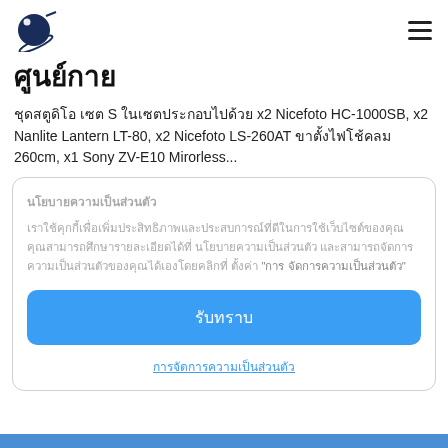ศูนย์กาย [partial title visible]
ศูนย์กาย
ชุดสตูดิโอ เซต S ในเซตประกอบไปด้วย x2 Nicefoto HC-1000SB, x2 Nanlite Lantern LT-80, x2 Nicefoto LS-260AT ขาตั้งไฟโช้คลม 260cm, x1 Sony ZV-E10 Mirorless...
นโยบายความเป็นส่วนตัว
เราใช้คุกกี้เพื่อเพิ่มประสิทธิภาพและประสบการณ์ที่ดีในการใช้เว็บไซต์ของคุณ คุณสามารถศึกษารายละเอียดได้ที่ นโยบายความเป็นส่วนตัว และสามารถจัดการความเป็นส่วนตัวของคุณได้เองโดยคลิกที่ ตั้งค่า "การจัดการความเป็นส่วนตัว"
รับทราบ
การจัดการความเป็นส่วนตัว